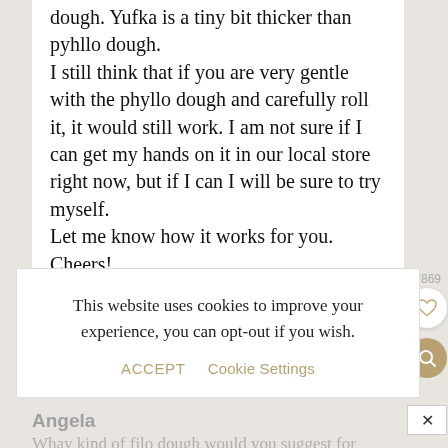dough. Yufka is a tiny bit thicker than pyhllo dough.
I still think that if you are very gentle with the phyllo dough and carefully roll it, it would still work. I am not sure if I can get my hands on it in our local store right now, but if I can I will be sure to try myself.
Let me know how it works for you. Cheers!
[Figure (screenshot): Cookie consent banner overlay showing: 'This website uses cookies to improve your experience, you can opt-out if you wish.' with ACCEPT and Cookie Settings buttons. A like counter showing 4,869, a heart icon button, a search magnifying glass button, and a close X button are visible on the right side.]
Angela
Whay kind of filo dough would you suggest for